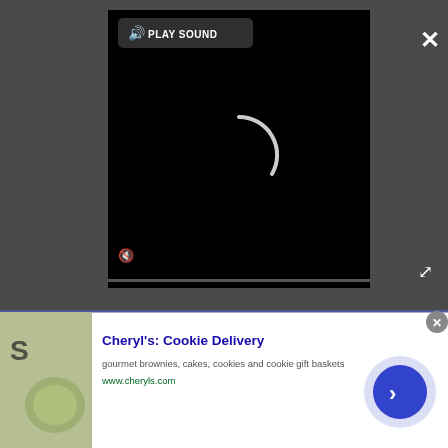[Figure (screenshot): Video player overlay on dark gray background. Black video area with a loading spinner arc, a 'PLAY SOUND' button in top-left of player, a muted speaker icon bottom-left, an X close button top-right, and a fullscreen icon bottom-right.]
[Figure (screenshot): Advertisement bar at bottom: thumbnail image on left, Cheryl's Cookie Delivery ad with title, description 'gourmet brownies, cakes, cookies and cookie gift baskets', URL 'www.cheryls.com', and a blue circular arrow button on right.]